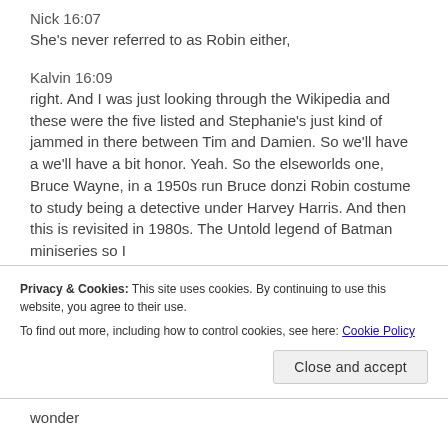Nick 16:07
She's never referred to as Robin either,
Kalvin 16:09
right. And I was just looking through the Wikipedia and these were the five listed and Stephanie's just kind of jammed in there between Tim and Damien. So we'll have a we'll have a bit honor. Yeah. So the elseworlds one, Bruce Wayne, in a 1950s run Bruce donzi Robin costume to study being a detective under Harvey Harris. And then this is revisited in 1980s. The Untold legend of Batman miniseries so I
Privacy & Cookies: This site uses cookies. By continuing to use this website, you agree to their use.
To find out more, including how to control cookies, see here: Cookie Policy
Close and accept
wonder